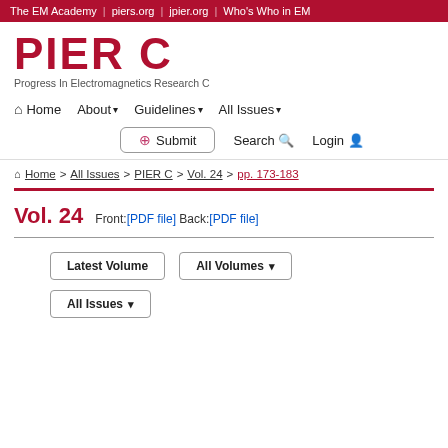The EM Academy | piers.org | jpier.org | Who's Who in EM
PIER C
Progress In Electromagnetics Research C
Home   About ▾   Guidelines ▾   All Issues ▾
Submit   Search   Login
Home > All Issues > PIER C > Vol. 24 > pp. 173-183
Vol. 24
Front:[PDF file] Back:[PDF file]
Latest Volume   All Volumes ▾
All Issues ▾